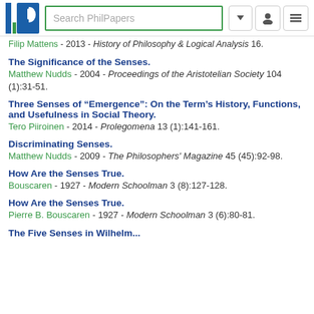Search PhilPapers
Filip Mattens - 2013 - History of Philosophy & Logical Analysis 16.
The Significance of the Senses.
Matthew Nudds - 2004 - Proceedings of the Aristotelian Society 104 (1):31-51.
Three Senses of “Emergence”: On the Term’s History, Functions, and Usefulness in Social Theory.
Tero Piiroinen - 2014 - Prolegomena 13 (1):141-161.
Discriminating Senses.
Matthew Nudds - 2009 - The Philosophers' Magazine 45 (45):92-98.
How Are the Senses True.
Bouscaren - 1927 - Modern Schoolman 3 (8):127-128.
How Are the Senses True.
Pierre B. Bouscaren - 1927 - Modern Schoolman 3 (6):80-81.
The Five Senses in Wilhelm...